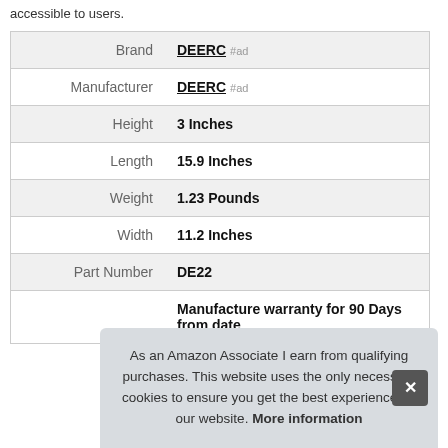accessible to users.
| Label | Value |
| --- | --- |
| Brand | DEERC #ad |
| Manufacturer | DEERC #ad |
| Height | 3 Inches |
| Length | 15.9 Inches |
| Weight | 1.23 Pounds |
| Width | 11.2 Inches |
| Part Number | DE22 |
|  | Manufacture warranty for 90 Days from date |
As an Amazon Associate I earn from qualifying purchases. This website uses the only necessary cookies to ensure you get the best experience on our website. More information